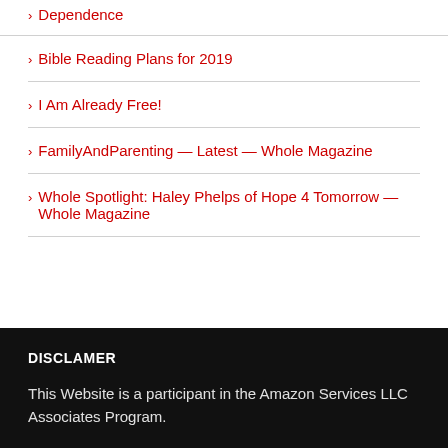Dependence
Bible Reading Plans for 2019
I Am Already Free!
FamilyAndParenting — Latest — Whole Magazine
Whole Spotlight: Haley Phelps of Hope 4 Tomorrow — Whole Magazine
DISCLAMER
This Website is a participant in the Amazon Services LLC Associates Program.